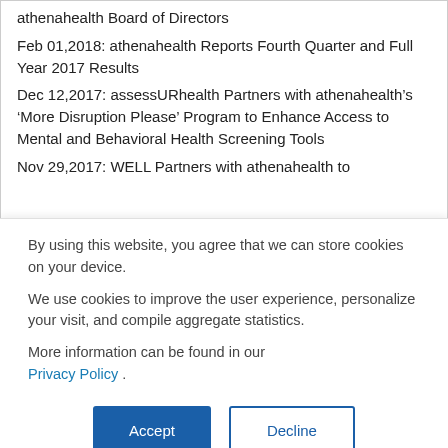athenahealth Board of Directors
Feb 01,2018: athenahealth Reports Fourth Quarter and Full Year 2017 Results
Dec 12,2017: assessURhealth Partners with athenahealth’s ‘More Disruption Please’ Program to Enhance Access to Mental and Behavioral Health Screening Tools
Nov 29,2017: WELL Partners with athenahealth to
By using this website, you agree that we can store cookies on your device.
We use cookies to improve the user experience, personalize your visit, and compile aggregate statistics.
More information can be found in our Privacy Policy .